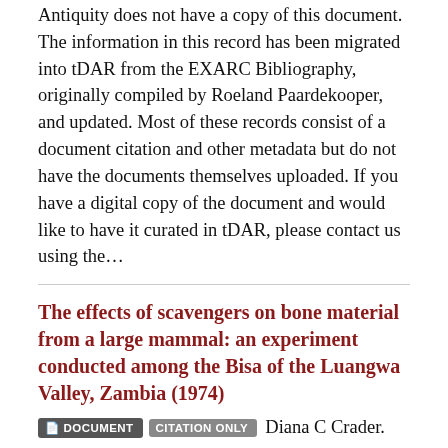Antiquity does not have a copy of this document. The information in this record has been migrated into tDAR from the EXARC Bibliography, originally compiled by Roeland Paardekooper, and updated. Most of these records consist of a document citation and other metadata but do not have the documents themselves uploaded. If you have a digital copy of the document and would like to have it curated in tDAR, please contact us using the...
The effects of scavengers on bone material from a large mammal: an experiment conducted among the Bisa of the Luangwa Valley, Zambia (1974)
DOCUMENT   CITATION ONLY   Diana C Crader.
This resource is a citation record only, the Center for Digital Antiquity does not have a copy of this document. The information in this record has been migrated into tDAR from the EXARC Bibliography, originally compiled by Roeland Paardekooper, and updated. Most of these records consist of a document citation and other metadata but do